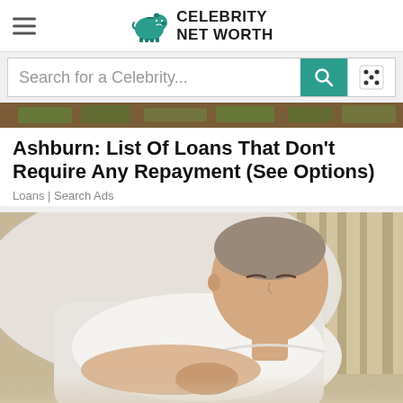CELEBRITY NET WORTH
Search for a Celebrity...
[Figure (photo): Cropped top portion of an advertisement image showing money/cash on a surface]
Ashburn: List Of Loans That Don't Require Any Repayment (See Options)
Loans | Search Ads
[Figure (photo): A middle-aged woman lying on a couch or bed, eyes closed, wearing a white t-shirt, resting on pillows with a striped cushion visible]